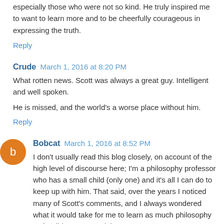especially those who were not so kind. He truly inspired me to want to learn more and to be cheerfully courageous in expressing the truth.
Reply
Crude  March 1, 2016 at 8:20 PM
What rotten news. Scott was always a great guy. Intelligent and well spoken.
He is missed, and the world's a worse place without him.
Reply
Bobcat  March 1, 2016 at 8:52 PM
I don't usually read this blog closely, on account of the high level of discourse here; I'm a philosophy professor who has a small child (only one) and it's all I can do to keep up with him. That said, over the years I noticed many of Scott's comments, and I always wondered what it would take for me to learn as much philosophy as he did. I'm stunned that